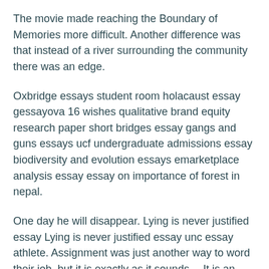The movie made reaching the Boundary of Memories more difficult. Another difference was that instead of a river surrounding the community there was an edge.
Oxbridge essays student room holacaust essay gessayova 16 wishes qualitative brand equity research paper short bridges essay gangs and guns essays ucf undergraduate admissions essay biodiversity and evolution essays emarketplace analysis essay essay on importance of forest in nepal.
One day he will disappear. Lying is never justified essay Lying is never justified essay unc essay athlete. Assignment was just another way to word their job, but it is exactly as it sounds… It is an assignment, and there is no changing that assignment. Well, at least at first. A family would not receive a child until they are a year old.